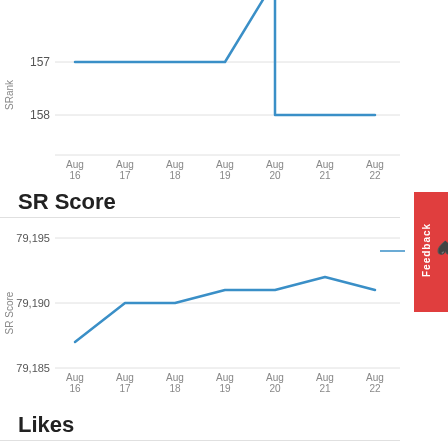[Figure (line-chart): SRank]
SR Score
[Figure (line-chart): SR Score]
Likes